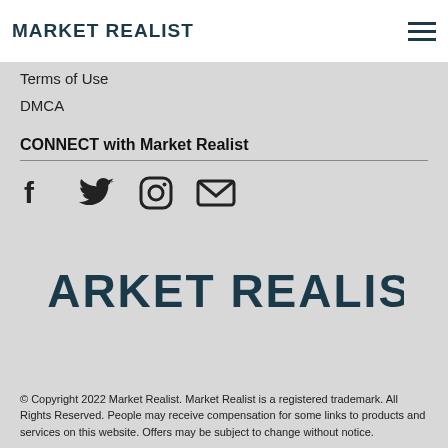MARKET REALIST
Terms of Use
DMCA
CONNECT with Market Realist
[Figure (illustration): Social media icons: Facebook (f), Twitter (bird), Instagram (camera), Email (envelope)]
[Figure (logo): Market Realist large logo in dark teal/navy color]
© Copyright 2022 Market Realist. Market Realist is a registered trademark. All Rights Reserved. People may receive compensation for some links to products and services on this website. Offers may be subject to change without notice.